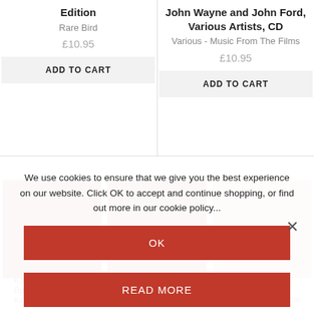Edition
Rare Bird
£10.95
ADD TO CART
John Wayne and John Ford, Various Artists, CD
Various - Music From The Films
£10.95
ADD TO CART
We use cookies to ensure that we give you the best experience on our website. Click OK to accept and continue shopping, or find out more in our cookie policy...
OK
READ MORE
Karlheinz Stockhausen:
Boxset
Kubrick's Music Selection